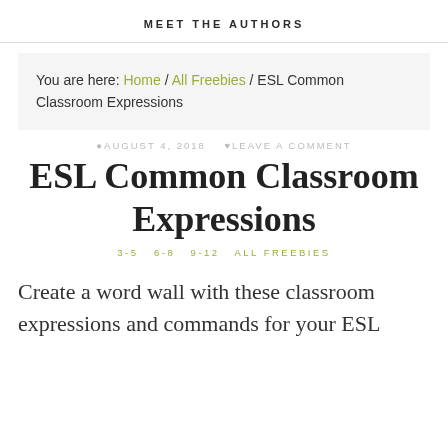MEET THE AUTHORS
You are here: Home / All Freebies / ESL Common Classroom Expressions
AUGUST 4, 2018   LEAVE A COMMENT
ESL Common Classroom Expressions
3-5  6-8  9-12  ALL FREEBIES
Create a word wall with these classroom expressions and commands for your ESL